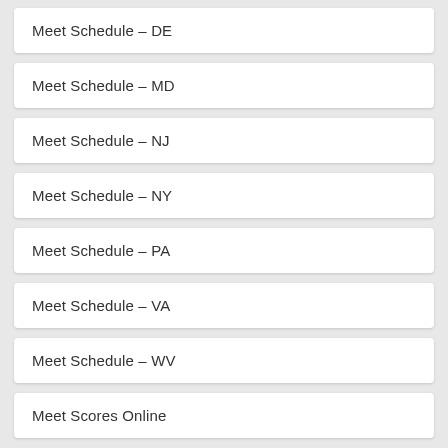Meet Schedule – DE
Meet Schedule – MD
Meet Schedule – NJ
Meet Schedule – NY
Meet Schedule – PA
Meet Schedule – VA
Meet Schedule – WV
Meet Scores Online